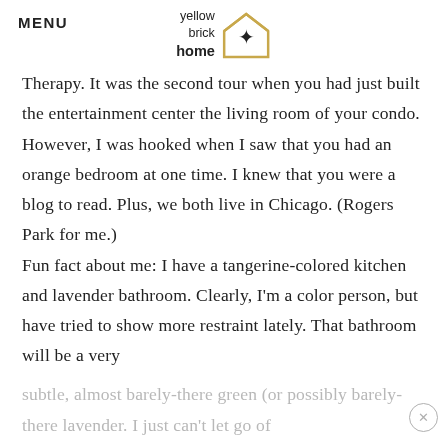MENU
[Figure (logo): Yellow Brick Home logo with house outline and star icon]
Therapy. It was the second tour when you had just built the entertainment center the living room of your condo. However, I was hooked when I saw that you had an orange bedroom at one time. I knew that you were a blog to read. Plus, we both live in Chicago. (Rogers Park for me.) Fun fact about me: I have a tangerine-colored kitchen and lavender bathroom. Clearly, I'm a color person, but have tried to show more restraint lately. That bathroom will be a very subtle, almost barely-there green (or possibly barely-there lavender. I just can't let go of